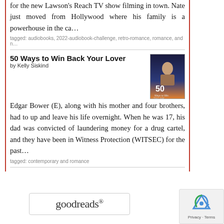for the new Lawson's Reach TV show filming in town. Nate just moved from Hollywood where his family is a powerhouse in the ca…
tagged: audiobooks, 2022-audiobook-challenge, retro-romance, romance, and n…
50 Ways to Win Back Your Lover
by Kelly Siskind
[Figure (illustration): Book cover for '50 Ways to Win Back Your Lover' showing a man with dark background and '50' visible on the cover]
Edgar Bower (E), along with his mother and four brothers, had to up and leave his life overnight. When he was 17, his dad was convicted of laundering money for a drug cartel, and they have been in Witness Protection (WITSEC) for the past…
tagged: contemporary and romance
[Figure (logo): Goodreads logo — text reads 'goodreads' with a registered trademark symbol, inside a rounded rectangle border]